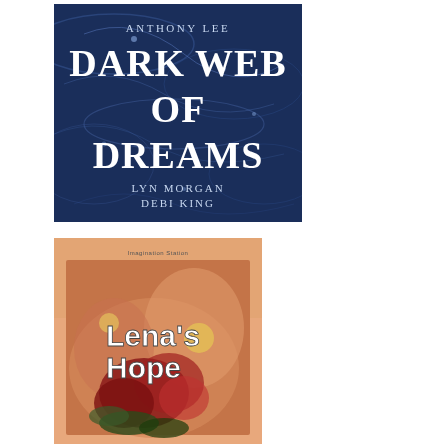[Figure (illustration): Book cover of 'Dark Web of Dreams' with dark blue neural/water background. Text shows: Anthony Lee (top), Dark Web of Dreams (center large), Lyn Morgan / Debi King (bottom).]
[Figure (illustration): Book cover of "Lena's Hope" with warm orange/peach background and floral artwork (red/dark flowers). Title 'Lena's Hope' in white stylized text. Small publisher text at top.]